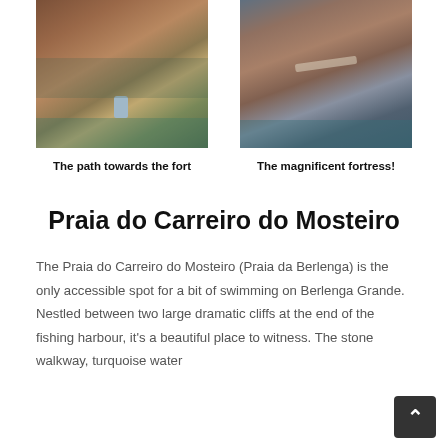[Figure (photo): Person sitting on rocky coastal cliffs with turquoise water below, path towards a fort]
[Figure (photo): Aerial view of a stone fortress on dramatic rocky cliffs above turquoise sea]
The path towards the fort
The magnificent fortress!
Praia do Carreiro do Mosteiro
The Praia do Carreiro do Mosteiro (Praia da Berlenga) is the only accessible spot for a bit of swimming on Berlenga Grande. Nestled between two large dramatic cliffs at the end of the fishing harbour, it's a beautiful place to witness. The stone walkway, turquoise water